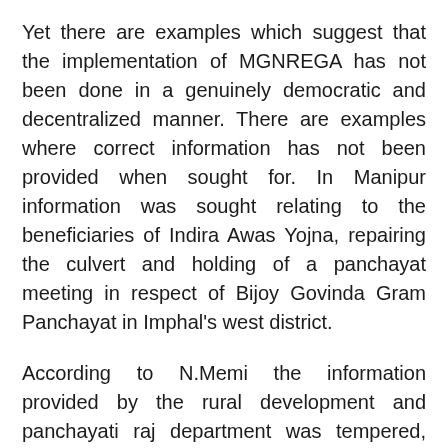Yet there are examples which suggest that the implementation of MGNREGA has not been done in a genuinely democratic and decentralized manner. There are examples where correct information has not been provided when sought for. In Manipur information was sought relating to the beneficiaries of Indira Awas Yojna, repairing the culvert and holding of a panchayat meeting in respect of Bijoy Govinda Gram Panchayat in Imphal's west district.
According to N.Memi the information provided by the rural development and panchayati raj department was tempered, misleading and incorrect. The CAG had noted fraud and irregularities in the implementation MGNREGA scheme in Karnataka. A